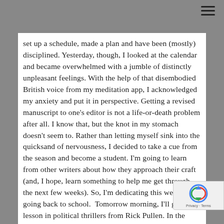set up a schedule, made a plan and have been (mostly) disciplined. Yesterday, though, I looked at the calendar and became overwhelmed with a jumble of distinctly unpleasant feelings. With the help of that disembodied British voice from my meditation app, I acknowledged my anxiety and put it in perspective. Getting a revised manuscript to one's editor is not a life-or-death problem after all. I know that, but the knot in my stomach doesn't seem to. Rather than letting myself sink into the quicksand of nervousness, I decided to take a cue from the season and become a student. I'm going to learn from other writers about how they approach their craft (and, I hope, learn something to help me get through the next few weeks). So, I'm dedicating this week to going back to school. Tomorrow morning, I'll get a lesson in political thrillers from Rick Pullen. In the evening, I'll be attending fellow Miss Demeanor and USA Today bestselling author Cate Holahan's book launch for Lies She Told. (If you're going to be in New York on Tuesday, September 12th, I'll see you at the Mysterious Bookshop on Warren Street at 6:30 pm!) Wednesday morning, I'll pass on what I learned from Cate about how she comes up with her spellbinding psychological thrillers. Thursday, I've got a tutorial with Daphne-Award